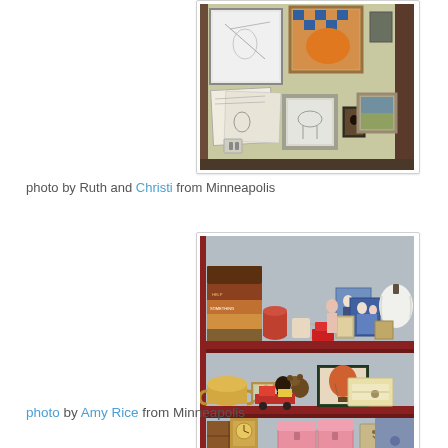[Figure (photo): Interior wall with multiple framed artworks and pictures arranged in a gallery-style display on a pale yellow/beige wall]
photo by Ruth and Christi from Minneapolis
[Figure (photo): Red shelving unit with three shelves displaying various collectibles, boxes, framed photos, toys, and decorative items]
photo by Amy Rice from Minneapolis